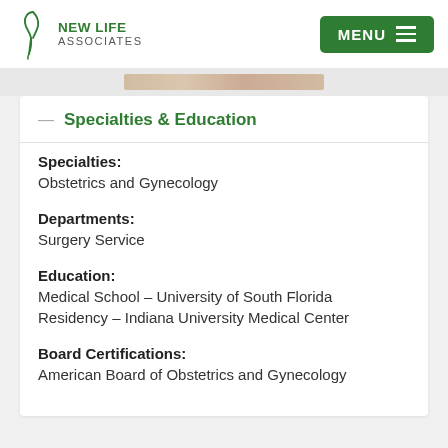NEW LIFE ASSOCIATES | MENU
Specialties & Education
Specialties:
Obstetrics and Gynecology
Departments:
Surgery Service
Education:
Medical School – University of South Florida
Residency – Indiana University Medical Center
Board Certifications:
American Board of Obstetrics and Gynecology